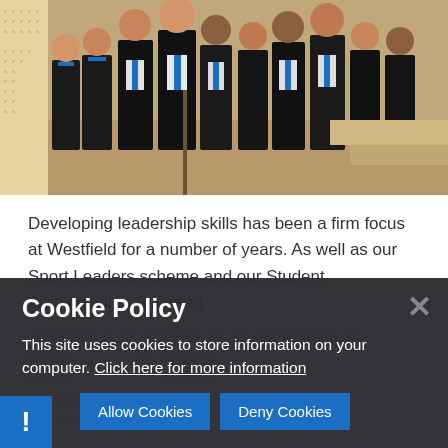[Figure (photo): Group photo of school students in black uniforms with blue ties, standing together indoors on a staircase/corridor area]
Developing leadership skills has been a firm focus at Westfield for a number of years. As well as our Sport Leaders scheme and our Student Ambassadors (pictured
above from 2018), students also go into our leader sc to help [partially obscured] of [language...] One of [partially obscured] Youth Sp Trust W[partially obscured] to Baton B[partially obscured] Commonwealth Games an[partially obscured]
Cookie Policy
This site uses cookies to store information on your computer. Click here for more information
Allow Cookies   Deny Cookies